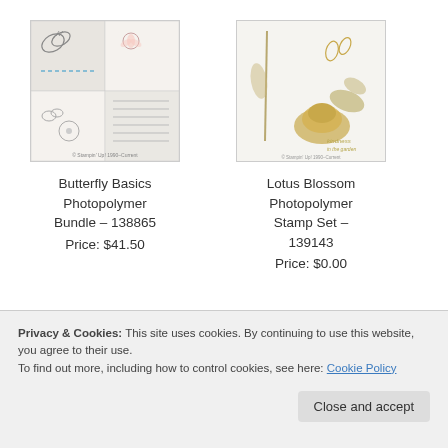[Figure (photo): Butterfly Basics stamp set product image showing butterflies, floral stamps, and small decorative elements on a white background]
[Figure (photo): Lotus Blossom stamp set product image showing lotus flower, leaves, and decorative botanical elements in gold/tan tones]
Butterfly Basics Photopolymer Bundle – 138865
Price: $41.50
Lotus Blossom Photopolymer Stamp Set – 139143
Price: $0.00
Privacy & Cookies: This site uses cookies. By continuing to use this website, you agree to their use.
To find out more, including how to control cookies, see here: Cookie Policy